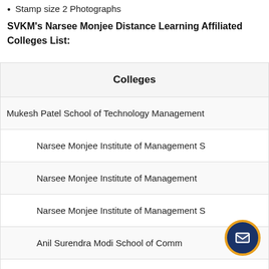Stamp size 2 Photographs
SVKM's Narsee Monjee Distance Learning Affiliated Colleges List:
| Colleges |
| --- |
| Mukesh Patel School of Technology Management |
| Narsee Monjee Institute of Management S... |
| Narsee Monjee Institute of Management... |
| Narsee Monjee Institute of Management S... |
| Anil Surendra Modi School of Comm... |
| Shobhaben Pratapbhai Patel School of Pharmacy Te... |
| Balwant Sheth School of Architect... |